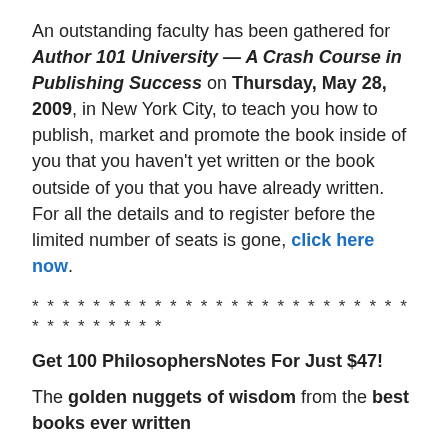An outstanding faculty has been gathered for Author 101 University — A Crash Course in Publishing Success on Thursday, May 28, 2009, in New York City, to teach you how to publish, market and promote the book inside of you that you haven't yet written or the book outside of you that you have already written.  For all the details and to register before the limited number of seats is gone, click here now.
* * * * * * * * * * * * * * * * * * * * * * * * * * * * * * * * * *
Get 100 PhilosophersNotes For Just $47!
The golden nuggets of wisdom from the best books ever written
Incredible value — save 20% before the summer